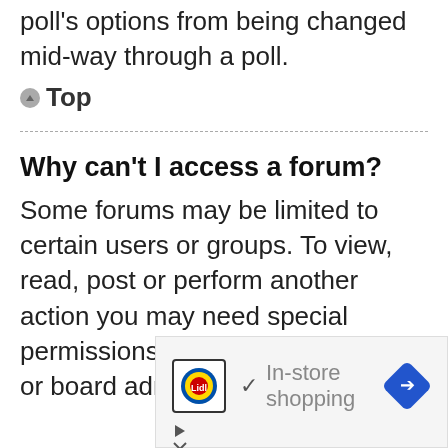poll's options from being changed mid-way through a poll.
Top
Why can't I access a forum?
Some forums may be limited to certain users or groups. To view, read, post or perform another action you may need special permissions. Contact a moderator or board administrator to grant you
[Figure (other): Lidl advertisement banner with logo, checkmark, 'In-store shopping' text, and navigation arrow]